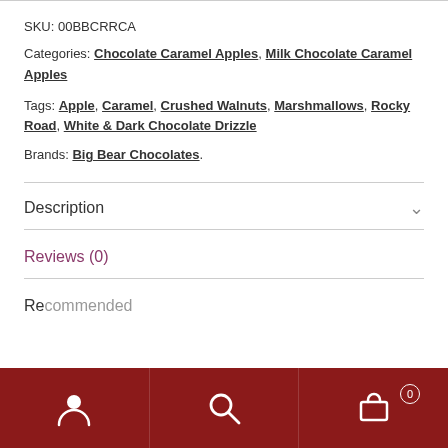SKU: 00BBCRRCA
Categories: Chocolate Caramel Apples, Milk Chocolate Caramel Apples
Tags: Apple, Caramel, Crushed Walnuts, Marshmallows, Rocky Road, White & Dark Chocolate Drizzle
Brands: Big Bear Chocolates.
Description
Reviews (0)
Recommended